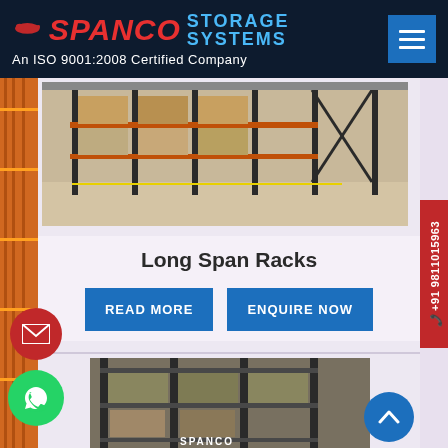SPANCO STORAGE SYSTEMS — An ISO 9001:2008 Certified Company
[Figure (photo): Warehouse interior showing industrial pallet racking systems loaded with boxes]
Long Span Racks
READ MORE
ENQUIRE NOW
[Figure (photo): Industrial multi-tier heavy-duty shelving/mezzanine storage rack with SPANCO branding visible at base]